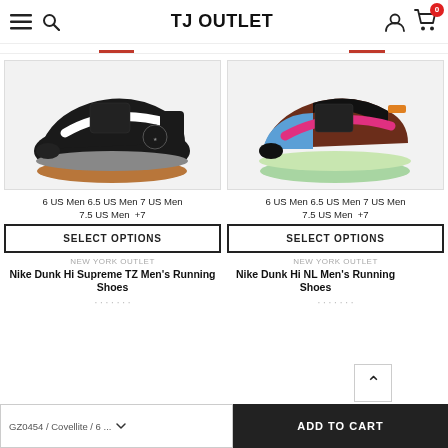TJ OUTLET
[Figure (photo): Black Nike Dunk Hi Supreme TZ sneaker with white swoosh and gum sole on white background]
[Figure (photo): Multi-color Nike Dunk Hi NL sneaker with pink swoosh, brown, black, and blue colorway on white background]
6 US Men 6.5 US Men 7 US Men 7.5 US Men +7
6 US Men 6.5 US Men 7 US Men 7.5 US Men +7
SELECT OPTIONS
SELECT OPTIONS
NEW YORK OUTLET
NEW YORK OUTLET
Nike Dunk Hi Supreme TZ Men's Running Shoes
Nike Dunk Hi NL Men's Running Shoes
GZ0454 / Covellite / 6 ...
ADD TO CART